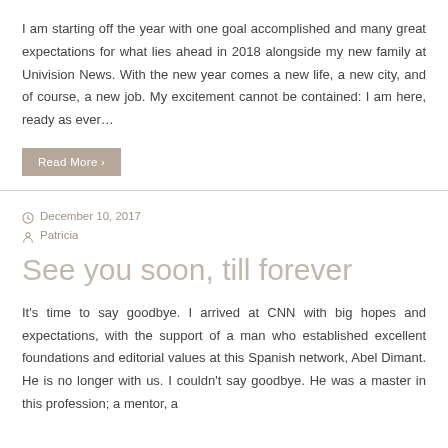I am starting off the year with one goal accomplished and many great expectations for what lies ahead in 2018 alongside my new family at Univision News. With the new year comes a new life, a new city, and of course, a new job. My excitement cannot be contained: I am here, ready as ever…
Read More ›
December 10, 2017
Patricia
See you soon, till forever
It's time to say goodbye. I arrived at CNN with big hopes and expectations, with the support of a man who established excellent foundations and editorial values at this Spanish network, Abel Dimant. He is no longer with us. I couldn't say goodbye. He was a master in this profession; a mentor, a